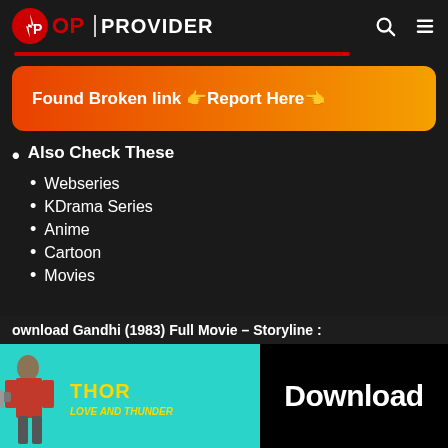OP Provider
[Figure (infographic): Orange gradient banner with text: Found Broken link 👉 Report Here 👈]
Also Check These
Webseries
KDrama Series
Anime
Cartoon
Movies
Download Gandhi (1983) Full Movie – Storyline :
[Figure (screenshot): Thor Love and Thunder promotional banner with Download button]